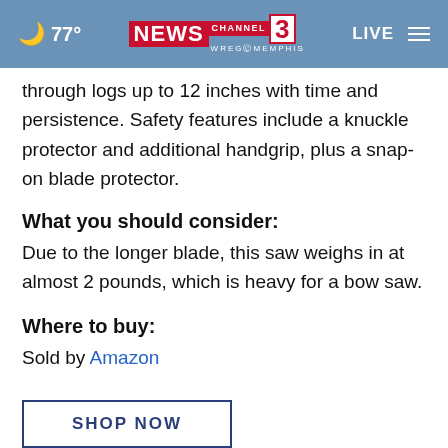☁ 77° | NEWS CHANNEL 3 WREG MEMPHIS | LIVE
through logs up to 12 inches with time and persistence. Safety features include a knuckle protector and additional handgrip, plus a snap-on blade protector.
What you should consider:
Due to the longer blade, this saw weighs in at almost 2 pounds, which is heavy for a bow saw.
Where to buy:
Sold by Amazon
SHOP NOW